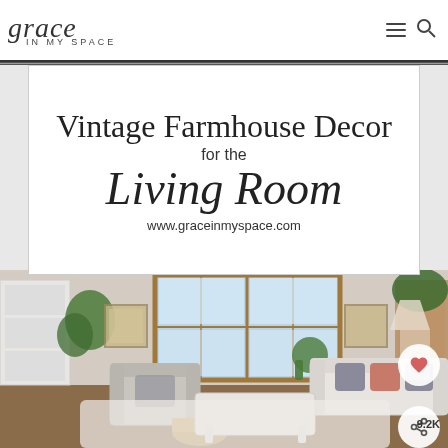grace IN MY SPACE
[Figure (illustration): Vintage Farmhouse Decor for the Living Room title card with www.graceinmyspace.com URL on white background with border]
[Figure (photo): Interior photo of a farmhouse-style living room with white/gray sofas, large wooden-framed windows, coffee table, plants, and area rug]